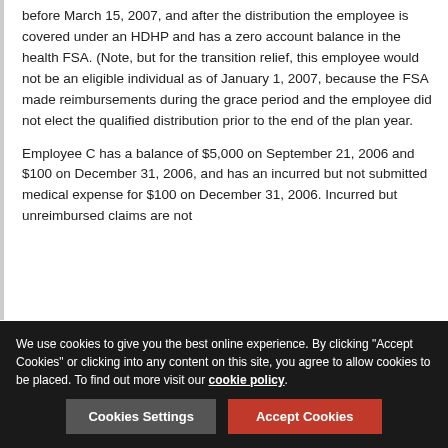before March 15, 2007, and after the distribution the employee is covered under an HDHP and has a zero account balance in the health FSA. (Note, but for the transition relief, this employee would not be an eligible individual as of January 1, 2007, because the FSA made reimbursements during the grace period and the employee did not elect the qualified distribution prior to the end of the plan year.
Employee C has a balance of $5,000 on September 21, 2006 and $100 on December 31, 2006, and has an incurred but not submitted medical expense for $100 on December 31, 2006. Incurred but unreimbursed claims are not
We use cookies to give you the best online experience. By clicking "Accept Cookies" or clicking into any content on this site, you agree to allow cookies to be placed. To find out more visit our cookie policy.